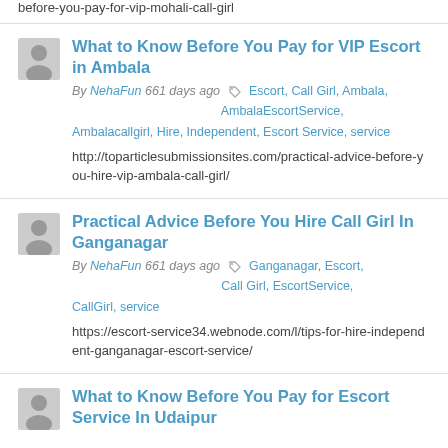before-you-pay-for-vip-mohali-call-girl
What to Know Before You Pay for VIP Escort in Ambala
By NehaFun 661 days ago
Escort, Call Girl, Ambala, AmbalaEscortService, Ambalacallgirl, Hire, Independent, Escort Service, service
http://toparticlesubmissionsites.com/practical-advice-before-you-hire-vip-ambala-call-girl/
Practical Advice Before You Hire Call Girl In Ganganagar
By NehaFun 661 days ago
Ganganagar, Escort, Call Girl, EscortService, CallGirl, service
https://escort-service34.webnode.com/l/tips-for-hire-independent-ganganagar-escort-service/
What to Know Before You Pay for Escort Service In Udaipur